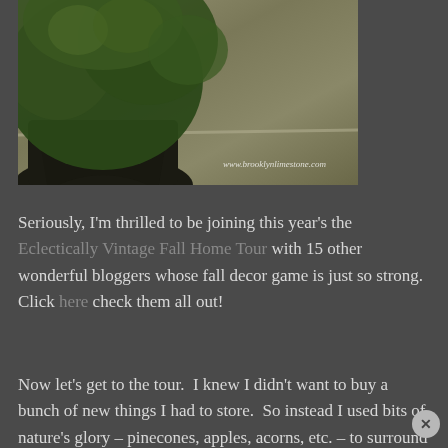[Figure (photo): Photo of a dark potted plant with green leaves and vines against a rough textured stone or stucco wall. Watermark reads www.brooklynlimestone.com in the lower right corner of the image.]
Seriously, I'm thrilled to be joining this year's the Eclectically Vintage Fall Home Tour with 15 other wonderful bloggers whose fall decor game is just so strong.  Click here check them all out!
Now let's get to the tour.  I knew I didn't want to buy a bunch of new things I had to store.  So instead I used bits of nature's glory – pinecones, apples, acorns, etc. – to surround myself with the best parts of my absolute favorite season.  Added bonus is